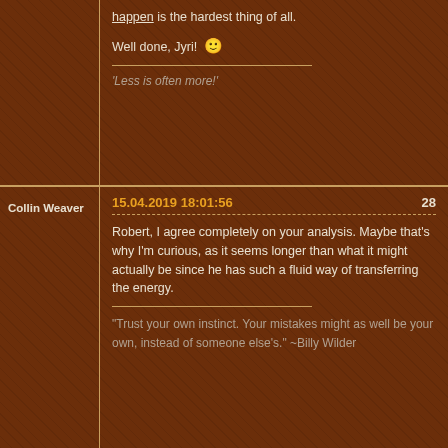happen is the hardest thing of all.

Well done, Jyri! 🙂
'Less is often more!'
Collin Weaver
15.04.2019 18:01:56
28
Robert, I agree completely on your analysis. Maybe that's why I'm curious, as it seems longer than what it might actually be since he has such a fluid way of transferring the energy.
"Trust your own instinct. Your mistakes might as well be your own, instead of someone else's." ~Billy Wilder